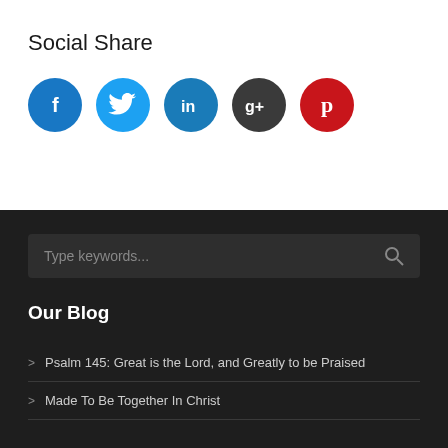Social Share
[Figure (infographic): Row of five social media icons: Facebook (blue circle with f), Twitter (light blue circle with bird), LinkedIn (blue circle with in), Google+ (dark grey circle with g+), Pinterest (red circle with p)]
Our Blog
Psalm 145: Great is the Lord, and Greatly to be Praised
Made To Be Together In Christ